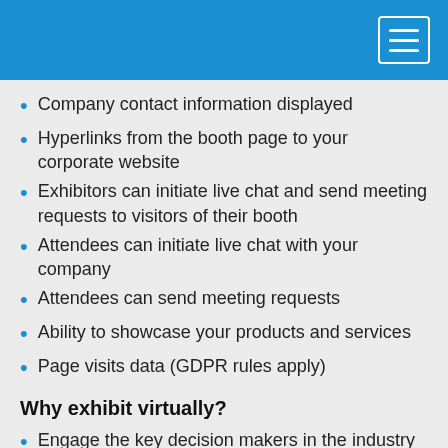Company contact information displayed
Hyperlinks from the booth page to your corporate website
Exhibitors can initiate live chat and send meeting requests to visitors of their booth
Attendees can initiate live chat with your company
Attendees can send meeting requests
Ability to showcase your products and services
Page visits data (GDPR rules apply)
Why exhibit virtually?
Engage the key decision makers in the industry in an unforgettable brand experience
Seize the opportunity to excite people about your products or services during virtual meetings with